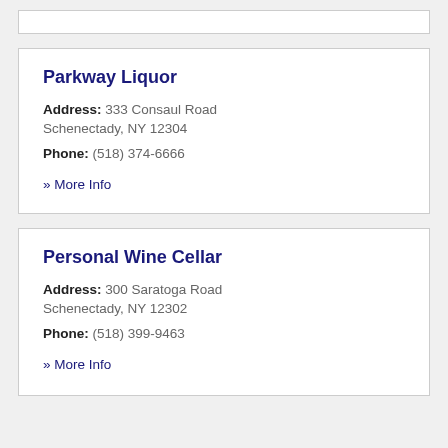Parkway Liquor
Address: 333 Consaul Road
Schenectady, NY 12304
Phone: (518) 374-6666
» More Info
Personal Wine Cellar
Address: 300 Saratoga Road
Schenectady, NY 12302
Phone: (518) 399-9463
» More Info